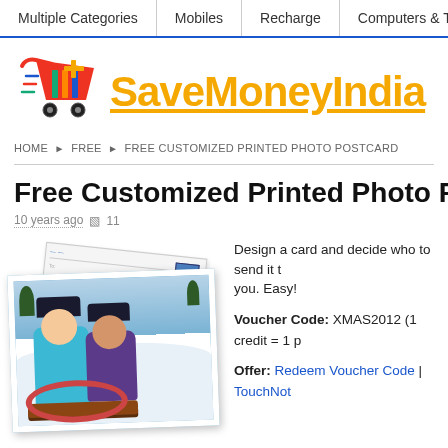Multiple Categories | Mobiles | Recharge | Computers & Tablets
[Figure (logo): SaveMoneyIndia logo with shopping cart icon and yellow bold text]
HOME › FREE › FREE CUSTOMIZED PRINTED PHOTO POSTCARD
Free Customized Printed Photo Pos...
10 years ago  ☐ 11
[Figure (photo): Photo postcard showing children playing in snow on a sled, with a postcard back visible behind it]
Design a card and decide who to send it to you. Easy!
Voucher Code: XMAS2012 (1 credit = 1 p
Offer: Redeem Voucher Code | TouchNot...